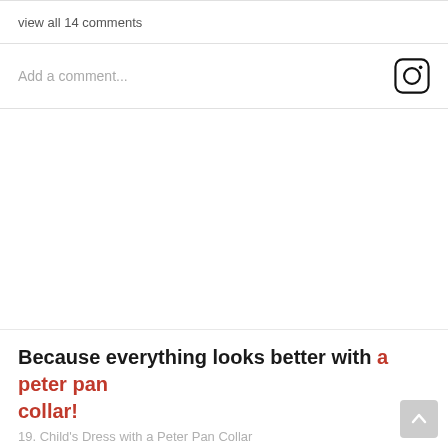view all 14 comments
Add a comment...
Because everything looks better with a peter pan collar!
19. Child's Dress with a Peter Pan Collar